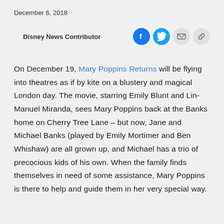December 6, 2018
Disney News Contributor
On December 19, Mary Poppins Returns will be flying into theatres as if by kite on a blustery and magical London day. The movie, starring Emily Blunt and Lin-Manuel Miranda, sees Mary Poppins back at the Banks home on Cherry Tree Lane – but now, Jane and Michael Banks (played by Emily Mortimer and Ben Whishaw) are all grown up, and Michael has a trio of precocious kids of his own. When the family finds themselves in need of some assistance, Mary Poppins is there to help and guide them in her very special way.